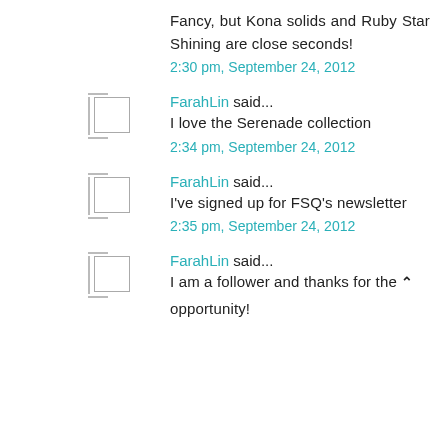Fancy, but Kona solids and Ruby Star Shining are close seconds!
2:30 pm, September 24, 2012
FarahLin said...
I love the Serenade collection
2:34 pm, September 24, 2012
FarahLin said...
I've signed up for FSQ's newsletter
2:35 pm, September 24, 2012
FarahLin said...
I am a follower and thanks for the opportunity!